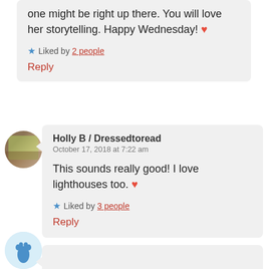one might be right up there. You will love her storytelling. Happy Wednesday! ❤
★ Liked by 2 people
Reply
[Figure (photo): Circular avatar photo of a person outdoors]
Holly B / Dressedtoread
October 17, 2018 at 7:22 am
This sounds really good! I love lighthouses too. ❤
★ Liked by 3 people
Reply
[Figure (illustration): Circular avatar with blue footprint icon, partial at bottom]